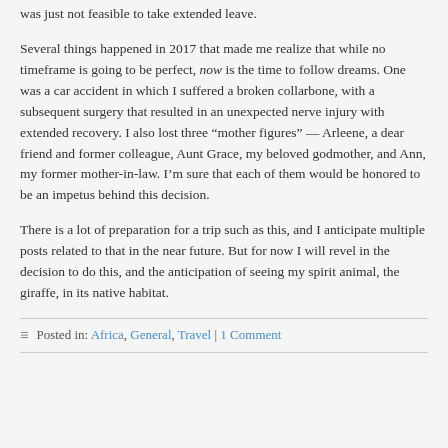was just not feasible to take extended leave.
Several things happened in 2017 that made me realize that while no timeframe is going to be perfect, now is the time to follow dreams. One was a car accident in which I suffered a broken collarbone, with a subsequent surgery that resulted in an unexpected nerve injury with extended recovery. I also lost three “mother figures” — Arleene, a dear friend and former colleague, Aunt Grace, my beloved godmother, and Ann, my former mother-in-law. I’m sure that each of them would be honored to be an impetus behind this decision.
There is a lot of preparation for a trip such as this, and I anticipate multiple posts related to that in the near future. But for now I will revel in the decision to do this, and the anticipation of seeing my spirit animal, the giraffe, in its native habitat.
Posted in: Africa, General, Travel | 1 Comment